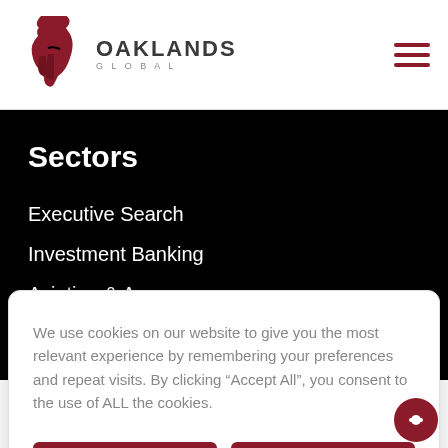[Figure (logo): Oaklands Global logo with red spartan helmet and bold text OAKLANDS GLOBAL]
Sectors
Executive Search
Investment Banking
Aviation & Aerospace
We use cookies on our website to give you the most relevant experience by remembering your preferences and repeat visits. By clicking “Accept All”, you consent to the use of ALL the cookies.
Privacy Policy
Accept All